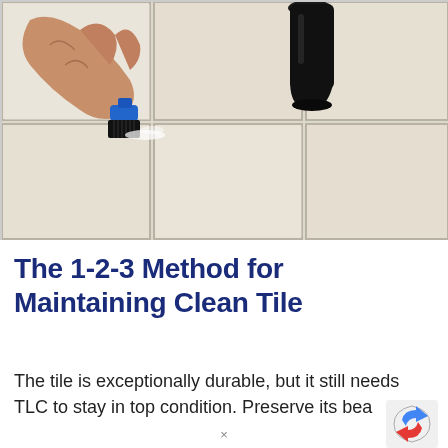[Figure (photo): A hand scrubbing tile grout with a blue-handled black bristle brush on a white ceramic tile floor, with a dark spray bottle in the background.]
The 1-2-3 Method for Maintaining Clean Tile
The tile is exceptionally durable, but it still needs TLC to stay in top condition. Preserve its bea